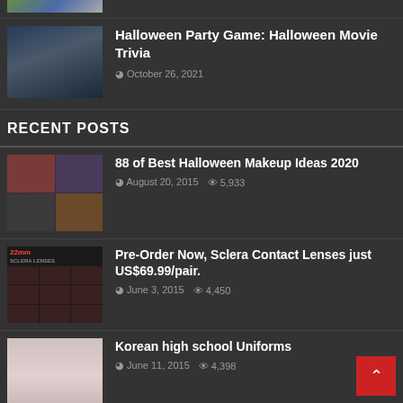[Figure (photo): Partial thumbnail of a colorful image at top]
[Figure (photo): Halloween movie still - person with scared expression]
Halloween Party Game: Halloween Movie Trivia
October 26, 2021
RECENT POSTS
[Figure (photo): Halloween makeup collage - multiple faces with dramatic makeup]
88 of Best Halloween Makeup Ideas 2020
August 20, 2015  5,933
[Figure (photo): 22mm Sclera Contact Lenses product grid showing eye closeups]
Pre-Order Now, Sclera Contact Lenses just US$69.99/pair.
June 3, 2015  4,450
[Figure (photo): Korean high school girls in uniforms]
Korean high school Uniforms
June 11, 2015  4,398
[Figure (photo): Blonde woman at event - partial image]
How to wear smart stripes: Your style guide
May 25, 2015  4,267